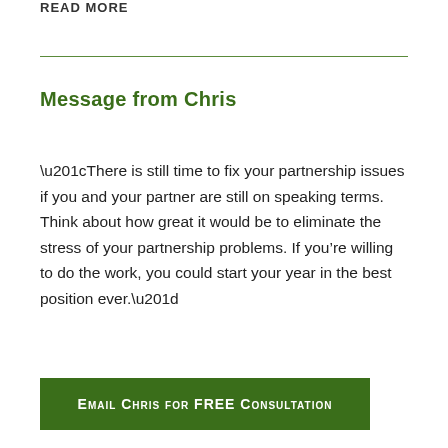READ MORE
Message from Chris
“There is still time to fix your partnership issues if you and your partner are still on speaking terms. Think about how great it would be to eliminate the stress of your partnership problems. If you’re willing to do the work, you could start your year in the best position ever.”
Email Chris for FREE Consultation